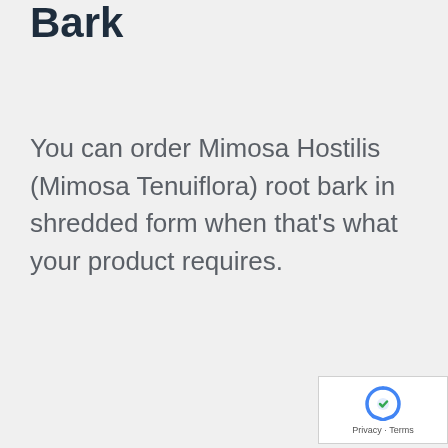Bark
You can order Mimosa Hostilis (Mimosa Tenuiflora) root bark in shredded form when that's what your product requires.
Read More >
[Figure (other): reCAPTCHA widget with Privacy and Terms links]